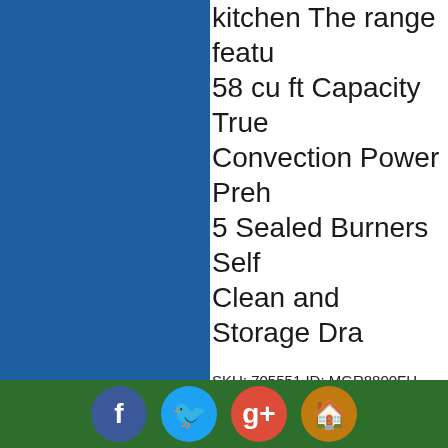kitchen The range featu 58 cu ft Capacity True Convection Power Preh 5 Sealed Burners Self Clean and Storage Dra
SKU: 705551 ID: MGR8800FH UPC: 883049413785
$959.00 - LEARN MORE or BUY N at AppliancesConnection.com
[Figure (photo): Product thumbnail image for MGR8800FE 30" Freestanding Gas Range with 5.8 cu. ft. Capacity True Convection]
MGR8800FE 30" Freestanding Gas Range with 5.8 cu. ft. Capacity True Convection
[Figure (infographic): Social media bar with Facebook, Twitter, Google+, and Home icons]